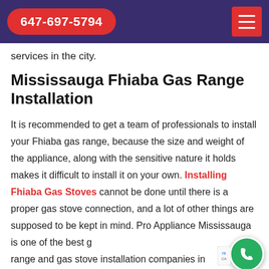647-697-5794
services in the city.
Mississauga Fhiaba Gas Range Installation
It is recommended to get a team of professionals to install your Fhiaba gas range, because the size and weight of the appliance, along with the sensitive nature it holds makes it difficult to install it on your own. Installing Fhiaba Gas Stoves cannot be done until there is a proper gas stove connection, and a lot of other things are supposed to be kept in mind. Pro Appliance Mississauga is one of the best gas range and gas stove installation companies in